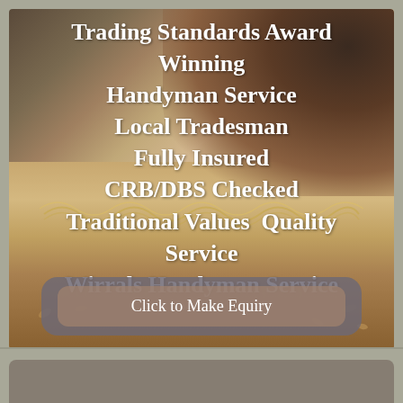[Figure (photo): Background photo of woodworking scene: a person's hand holding a wooden tool or handle on a workbench surface covered with wood shavings and chips, giving a craftsman/tradesman aesthetic.]
Trading Standards Award Winning
Handyman Service
Local Tradesman
Fully Insured
CRB/DBS Checked
Traditional Values  Quality Service
Wirrals Handyman Service
Click to Make Equiry